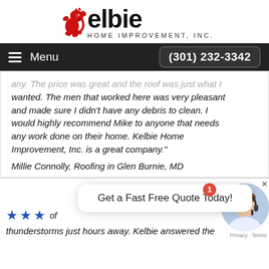[Figure (logo): Kelbie Home Improvement, Inc. logo with red lion rampant and bold text]
Menu  (301) 232-3342
...any. The price was great and the roof was just what I wanted. The men that worked here was very pleasant and made sure I didn't have any debris to clean. I would highly recommend Mike to anyone that needs any work done on their home. Kelbie Home Improvement, Inc. is a great company."
Millie Connolly, Roofing in Glen Burnie, MD
Get a Fast Free Quote Today!
★★★  ...of thunderstorms just hours away. Kelbie answered the